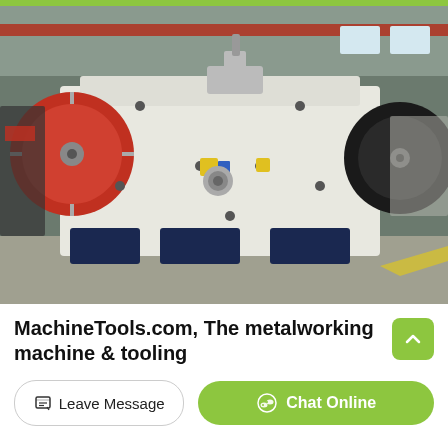[Figure (photo): Large industrial jaw crusher / roller mill machine with white body, red flywheels, and dark blue base, photographed in a factory/warehouse setting.]
MachineTools.com, The metalworking machine & tooling
Leave Message
Chat Online